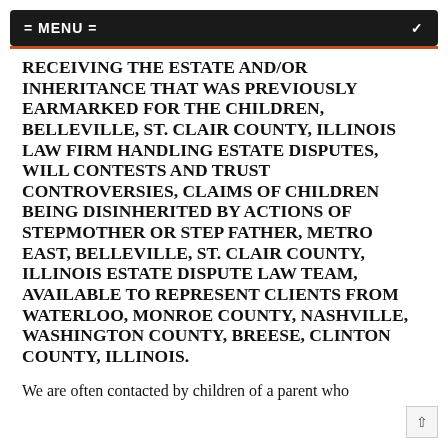= MENU =
RECEIVING THE ESTATE AND/OR INHERITANCE THAT WAS PREVIOUSLY EARMARKED FOR THE CHILDREN, BELLEVILLE, ST. CLAIR COUNTY, ILLINOIS LAW FIRM HANDLING ESTATE DISPUTES, WILL CONTESTS AND TRUST CONTROVERSIES, CLAIMS OF CHILDREN BEING DISINHERITED BY ACTIONS OF STEPMOTHER OR STEP FATHER, METRO EAST, BELLEVILLE, ST. CLAIR COUNTY, ILLINOIS ESTATE DISPUTE LAW TEAM, AVAILABLE TO REPRESENT CLIENTS FROM WATERLOO, MONROE COUNTY, NASHVILLE, WASHINGTON COUNTY, BREESE, CLINTON COUNTY, ILLINOIS.
We are often contacted by children of a parent who